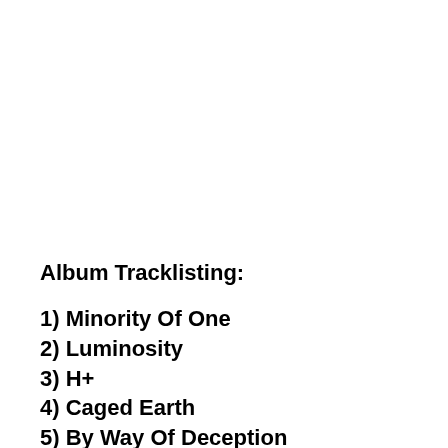Album Tracklisting:
1) Minority Of One
2) Luminosity
3) H+
4) Caged Earth
5) By Way Of Deception
6) The Human Cipher
7) Praise Thee In Flesh